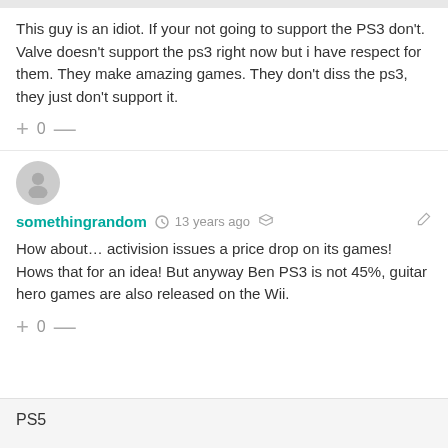This guy is an idiot. If your not going to support the PS3 don't. Valve doesn't support the ps3 right now but i have respect for them. They make amazing games. They don't diss the ps3, they just don't support it.
[Figure (illustration): Generic user avatar icon (gray circle with person silhouette)]
somethingrandom · 13 years ago
How about… activision issues a price drop on its games! Hows that for an idea! But anyway Ben PS3 is not 45%, guitar hero games are also released on the Wii.
PS5